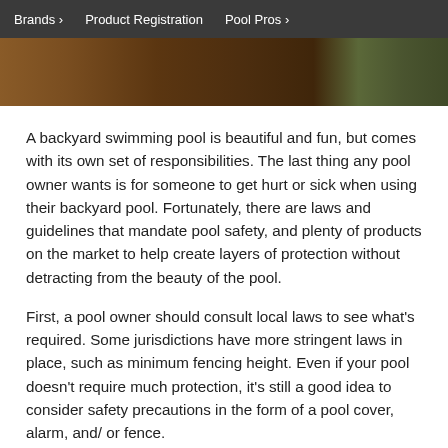Brands › Product Registration Pool Pros ›
[Figure (photo): Partial view of a wooden structure or cabinet, brown tones, with some green visible at the right edge.]
A backyard swimming pool is beautiful and fun, but comes with its own set of responsibilities. The last thing any pool owner wants is for someone to get hurt or sick when using their backyard pool. Fortunately, there are laws and guidelines that mandate pool safety, and plenty of products on the market to help create layers of protection without detracting from the beauty of the pool.
First, a pool owner should consult local laws to see what's required. Some jurisdictions have more stringent laws in place, such as minimum fencing height. Even if your pool doesn't require much protection, it's still a good idea to consider safety precautions in the form of a pool cover, alarm, and/ or fence.
You should also check with a pool professional about recommended water balance levels. Now, more than ever, it's